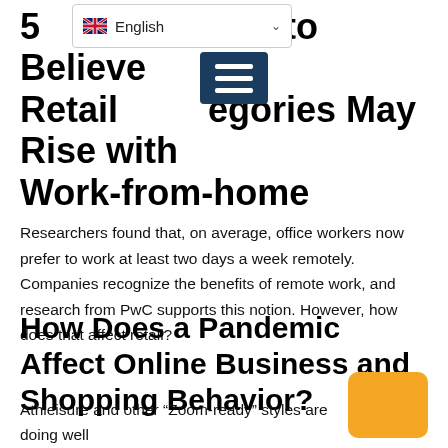5 Reasons to Believe Retail Categories May Rise with Work-from-home
Researchers found that, on average, office workers now prefer to work at least two days a week remotely. Companies recognize the benefits of remote work, and research from PwC supports this notion. However, how does that affect retail?
How Does a Pandemic Affect Online Business and Shopping Behavior?
Athleisure and other “Zoom-ready” styles are doing well